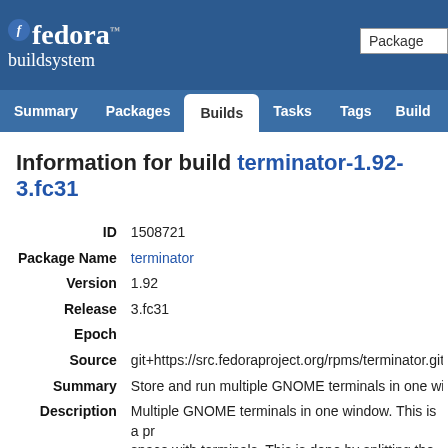fedora buildsystem | Package
Summary | Packages | Builds | Tasks | Tags | Build
Information for build terminator-1.92-3.fc31
| Field | Value |
| --- | --- |
| ID | 1508721 |
| Package Name | terminator |
| Version | 1.92 |
| Release | 3.fc31 |
| Epoch |  |
| Source | git+https://src.fedoraproject.org/rpms/terminator.git#d5 |
| Summary | Store and run multiple GNOME terminals in one windo |
| Description | Multiple GNOME terminals in one window. This is a pr space with terminals. This is done by splitting the wind a very flexible arrangements of terminals for different t |
| Built by | dmaphy |
| State | complete |
| Volume | fedora_koji_archive04 |